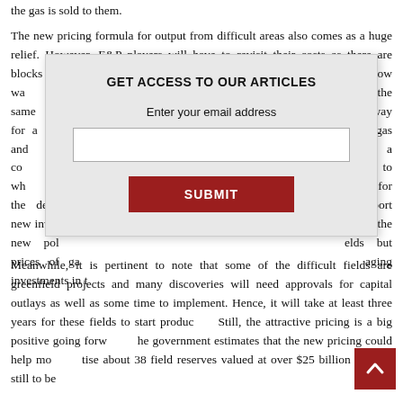the gas is sold to them.
The new pricing formula for output from difficult areas also comes as a huge relief. However, E&P players will have to revisit their costs as there are blocks that have both deepwater and shallow wa[ter]... ifficult if the same infr[astructure]... ne way for a level pla[ying field]... gas and create a co[mpetitive environment with alt]ernative fuels, to wh[ich]... ay healthy for the de[mand]... nd support new inv[estment]... experts, the new pol[icy]... elds but prices of ga[s]... aging investments in t[he sector].
Meanwhile, it is pertinent to note that some of the difficult fields are greenfield projects and many discoveries will need approvals for capital outlays as well as some time to implement. Hence, it will take at least three years for these fields to start production. Still, the attractive pricing is a big positive going forw[ard]. The government estimates that the new pricing could help monetise about 38 field reserves valued at over $25 billion that are still to be